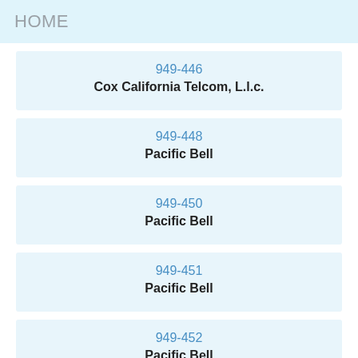HOME
949-446
Cox California Telcom, L.l.c.
949-448
Pacific Bell
949-450
Pacific Bell
949-451
Pacific Bell
949-452
Pacific Bell